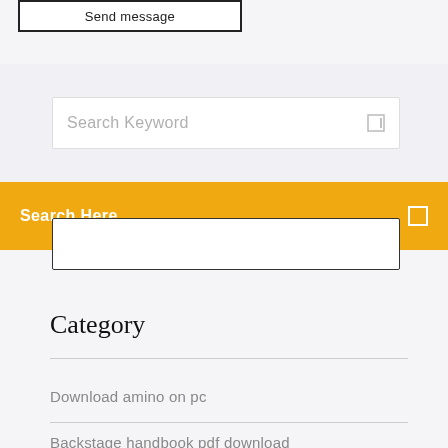[Figure (screenshot): Send message button box at top left of page]
[Figure (screenshot): Search keyword input box with placeholder text and search icon]
[Figure (screenshot): Orange/amber search bar with 'Search Here' text and square icon on right]
Category
Download amino on pc
Backstage handbook pdf download